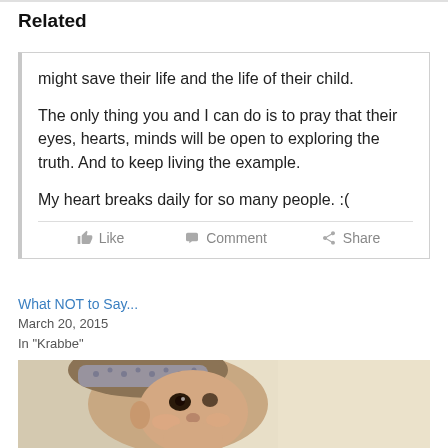Related
might save their life and the life of their child.
The only thing you and I can do is to pray that their eyes, hearts, minds will be open to exploring the truth. And to keep living the example.
My heart breaks daily for so many people. :(
Like   Comment   Share
What NOT to Say...
March 20, 2015
In "Krabbe"
[Figure (photo): Close-up photo of a baby with dark eyes looking up, wearing a patterned headband, lying on a light-colored surface]